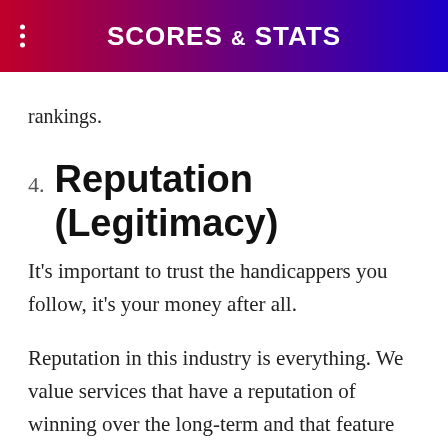SCORES & STATS
rankings.
4. Reputation (Legitimacy)
It's important to trust the handicappers you follow, it's your money after all.
Reputation in this industry is everything. We value services that have a reputation of winning over the long-term and that feature handicappers with proven track records.